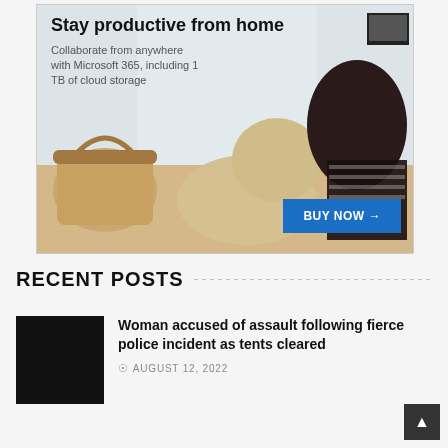[Figure (screenshot): Advertisement banner for Microsoft 365. Shows headline 'Stay productive from home', subtext 'Collaborate from anywhere with Microsoft 365, including 1 TB of cloud storage', image of a woman petting a dog at home, and a blue 'BUY NOW →' button.]
RECENT POSTS
[Figure (photo): Black thumbnail image for news article]
Woman accused of assault following fierce police incident as tents cleared
AUGUST 12, 2022